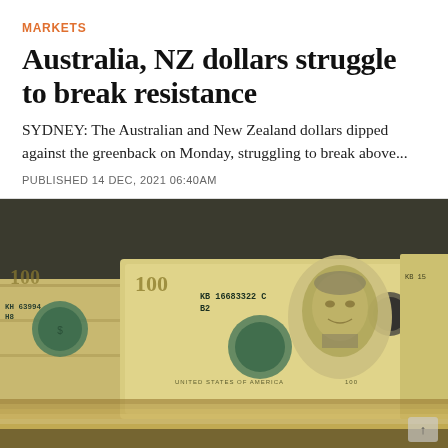MARKETS
Australia, NZ dollars struggle to break resistance
SYDNEY: The Australian and New Zealand dollars dipped against the greenback on Monday, struggling to break above...
PUBLISHED 14 DEC, 2021 06:40AM
[Figure (photo): Stacks of US $100 dollar bills photographed in close-up, showing Benjamin Franklin's portrait on the bills with serial numbers visible including KB16683322C and KH63994 H8]